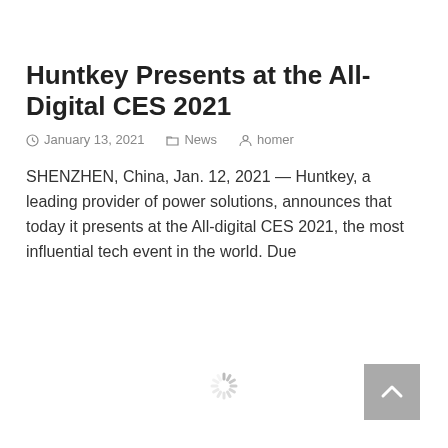Huntkey Presents at the All-Digital CES 2021
January 13, 2021   News   homer
SHENZHEN, China, Jan. 12, 2021 — Huntkey, a leading provider of power solutions, announces that today it presents at the All-digital CES 2021, the most influential tech event in the world. Due